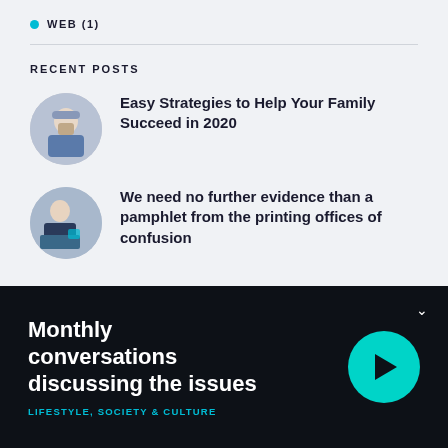WEB (1)
RECENT POSTS
[Figure (photo): Circular thumbnail of a person using a phone/tablet]
Easy Strategies to Help Your Family Succeed in 2020
[Figure (photo): Circular thumbnail of a person working at a laptop]
We need no further evidence than a pamphlet from the printing offices of confusion
Monthly conversations discussing the issues
LIFESTYLE, SOCIETY & CULTURE